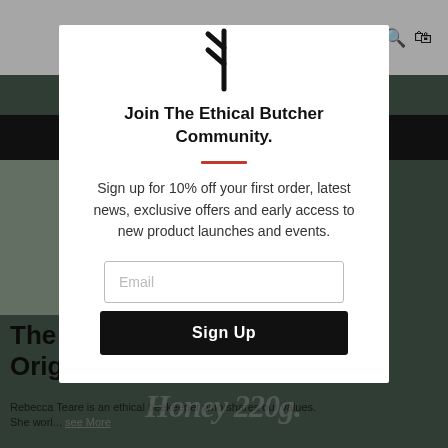[Figure (screenshot): Website background showing 'the ethical butcher' website with navigation header, product images, and partially visible product page for 'The Bee Lady Single Origin Honey 220g']
Join The Ethical Butcher Community.
Sign up for 10% off your first order, latest news, exclusive offers and early access to new product launches and events.
Email
Sign Up